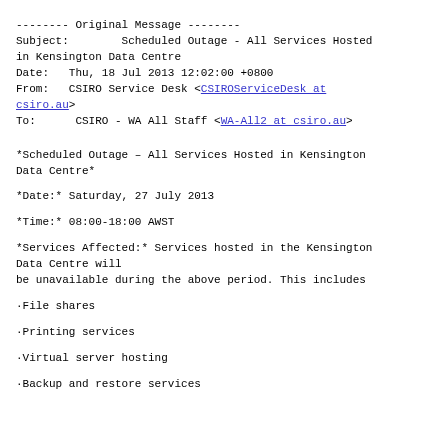-------- Original Message --------
Subject:        Scheduled Outage - All Services Hosted in Kensington Data Centre
Date:   Thu, 18 Jul 2013 12:02:00 +0800
From:   CSIRO Service Desk <CSIROServiceDesk at csiro.au>
To:      CSIRO - WA All Staff <WA-All2 at csiro.au>
*Scheduled Outage - All Services Hosted in Kensington Data Centre*
*Date:* Saturday, 27 July 2013
*Time:* 08:00-18:00 AWST
*Services Affected:* Services hosted in the Kensington Data Centre will
be unavailable during the above period. This includes
·File shares
·Printing services
·Virtual server hosting
·Backup and restore services